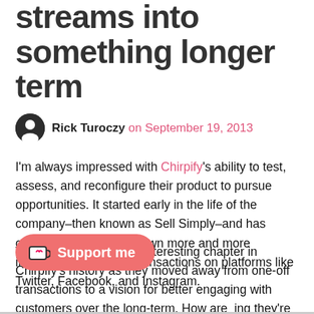streams into something longer term
Rick Turoczy on September 19, 2013
I'm always impressed with Chirpify's ability to test, assess, and reconfigure their product to pursue opportunities. It started early in the life of the company–then known as Sell Simply–and has continued as they've grown more and more intelligent about retail transactions on platforms like Twitter, Facebook, and Instagram.
Today, marked another interesting chapter in Chirpify's history as they moved away from one-off transactions to a vision for better engaging with customers over the long-term. How are they doing they're calling "#actiontags."
[Figure (other): Support me button with Ko-fi cup icon]